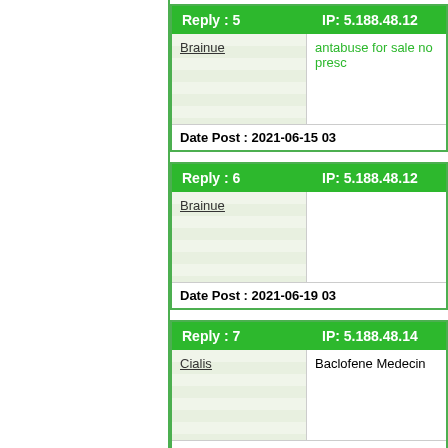| Reply : 5 | IP: 5.188.48.12 |
| --- | --- |
| Brainue | antabuse for sale no presc... |
|  | Date Post : 2021-06-15 03... |
| Reply : 6 | IP: 5.188.48.12 |
| --- | --- |
| Brainue |  |
|  | Date Post : 2021-06-19 03... |
| Reply : 7 | IP: 5.188.48.14 |
| --- | --- |
| Cialis | Baclofene Medecin |
|  | Date Post : 2021-08-28 03... |